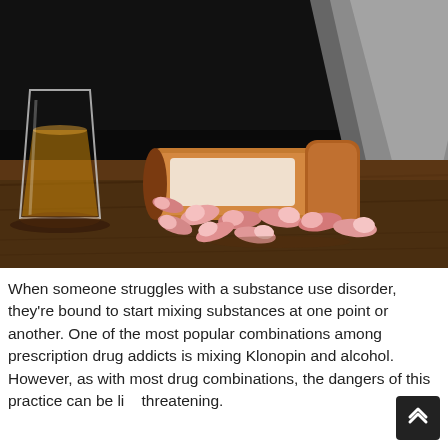[Figure (photo): Dark background photo showing a glass of whiskey/alcohol on the left, a tipped-over orange prescription pill bottle with pink and white capsules spilled out in the center, and a blurred diagonal object (possibly a bottle or surface) on the right, all resting on a dark wooden surface.]
When someone struggles with a substance use disorder, they're bound to start mixing substances at one point or another. One of the most popular combinations among prescription drug addicts is mixing Klonopin and alcohol. However, as with most drug combinations, the dangers of this practice can be life threatening.